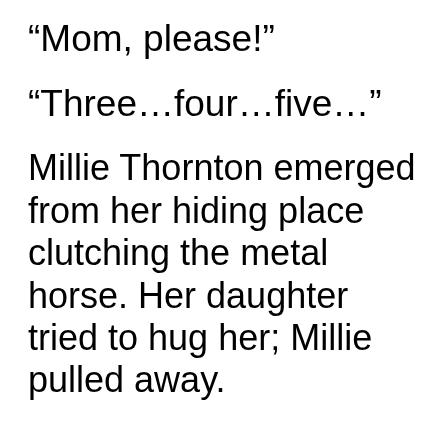“Mom, please!”
“Three…four…five…”
Millie Thornton emerged from her hiding place clutching the metal horse. Her daughter tried to hug her; Millie pulled away.